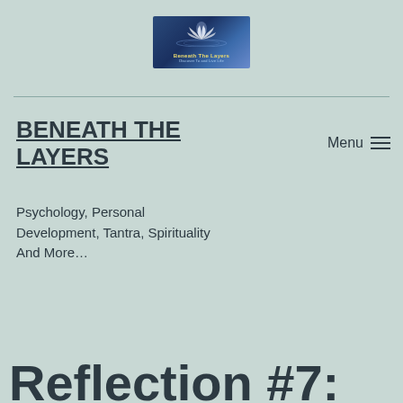[Figure (logo): Beneath The Layers blog logo — lotus flower on water with blue background and text 'Beneath The Layers']
BENEATH THE LAYERS
Psychology, Personal Development, Tantra, Spirituality And More…
Menu ☰
Reflection #7: